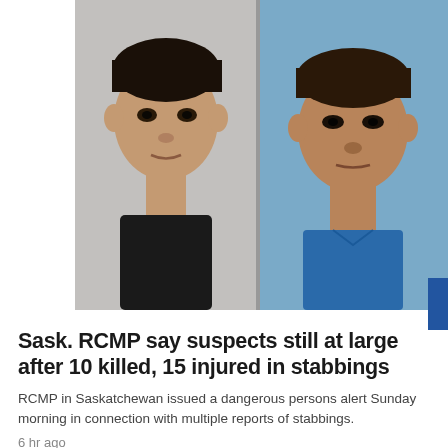[Figure (photo): Two mugshot-style photos side by side: left photo shows a young Indigenous man with dark hair against a grey wall; right photo shows another man in a blue shirt against a plain background.]
Sask. RCMP say suspects still at large after 10 killed, 15 injured in stabbings
RCMP in Saskatchewan issued a dangerous persons alert Sunday morning in connection with multiple reports of stabbings.
6 hr ago
Power lines supplying Jasper, Alta. being assessed after wildfire damage
7 hr ago